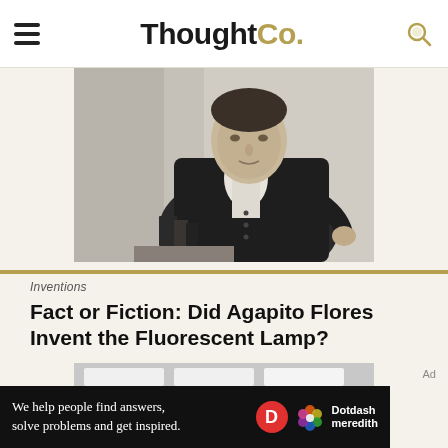ThoughtCo.
[Figure (photo): Black and white engraved portrait of a historical figure in formal 18th/19th century attire, seated, with books on a table beside him.]
Inventions
Fact or Fiction: Did Agapito Flores Invent the Fluorescent Lamp?
[Figure (photo): Black and white photo of a room with fluorescent ceiling lamps/lights.]
Ad
We help people find answers, solve problems and get inspired. Dotdash meredith